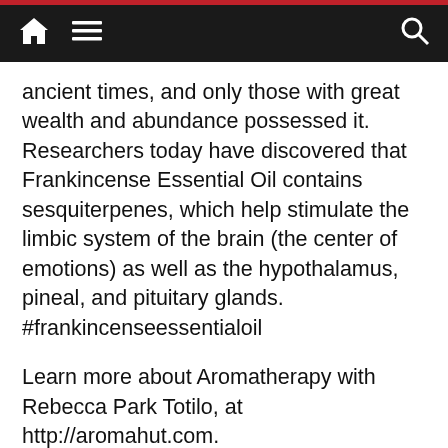Navigation bar with home, menu, and search icons
ancient times, and only those with great wealth and abundance possessed it. Researchers today have discovered that Frankincense Essential Oil contains sesquiterpenes, which help stimulate the limbic system of the brain (the center of emotions) as well as the hypothalamus, pineal, and pituitary glands. #frankincenseessentialoil
Learn more about Aromatherapy with Rebecca Park Totilo, at http://aromahut.com.
For many, having a dream career and doing what they love is simply a dream! At Aroma Hut Institute, we help you turn your passion and dream of working with essential oils into one of the most rewarding experiences in life. With skillful guidance, bestselling author, Rebecca Park Totilo will help